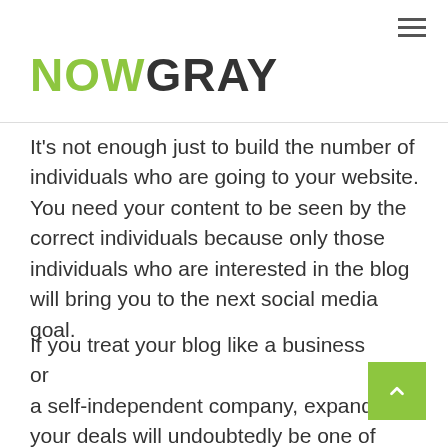NOWGRAY
It's not enough just to build the number of individuals who are going to your website. You need your content to be seen by the correct individuals because only those individuals who are interested in the blog will bring you to the next social media goal.
If you treat your blog like a business or a self-independent company, expanding your deals will undoubtedly be one of your best objectives. How much do you earn from social media and how do you attract